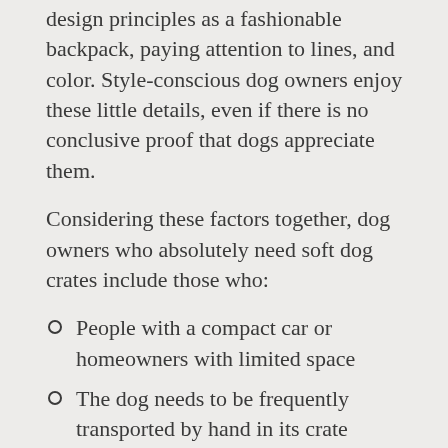design principles as a fashionable backpack, paying attention to lines, and color. Style-conscious dog owners enjoy these little details, even if there is no conclusive proof that dogs appreciate them.
Considering these factors together, dog owners who absolutely need soft dog crates include those who:
People with a compact car or homeowners with limited space
The dog needs to be frequently transported by hand in its crate
Be sure to own calm dogs who can be crated and are not prone to chewing
Prefer aesthetics in dog crates
If you can afford to pay more than a comparable hard crate for your dog